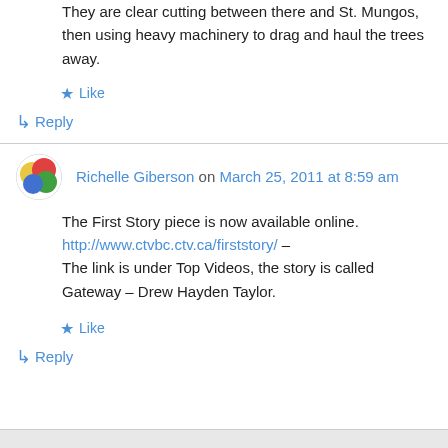They are clear cutting between there and St. Mungos, then using heavy machinery to drag and haul the trees away.
★ Like
↳ Reply
Richelle Giberson on March 25, 2011 at 8:59 am
The First Story piece is now available online. http://www.ctvbc.ctv.ca/firststory/ – The link is under Top Videos, the story is called Gateway – Drew Hayden Taylor.
★ Like
↳ Reply